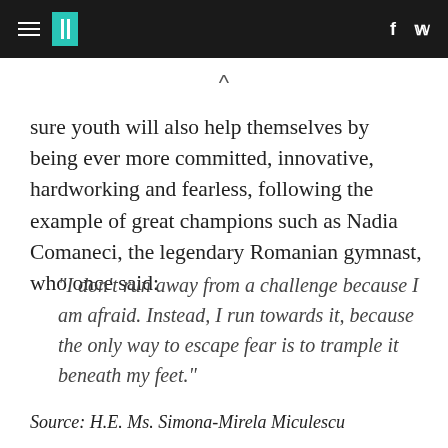HuffPost navigation header with hamburger menu, logo, Facebook and Twitter icons
sure youth will also help themselves by being ever more committed, innovative, hardworking and fearless, following the example of great champions such as Nadia Comaneci, the legendary Romanian gymnast, who once said:
"I don't run away from a challenge because I am afraid. Instead, I run towards it, because the only way to escape fear is to trample it beneath my feet."
Source: H.E. Ms. Simona-Mirela Miculescu